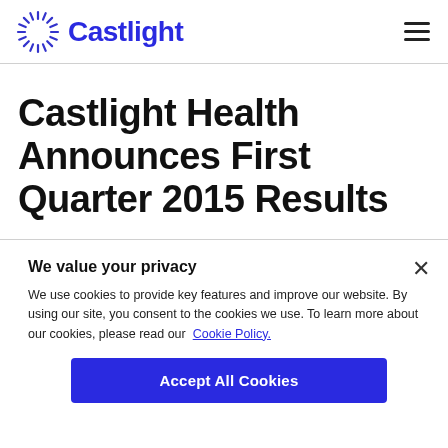[Figure (logo): Castlight company logo: radiating lines forming a circular sunburst shape in blue, with the text 'Castlight' in bold blue to the right]
Castlight Health Announces First Quarter 2015 Results
We value your privacy
We use cookies to provide key features and improve our website. By using our site, you consent to the cookies we use. To learn more about our cookies, please read our Cookie Policy.